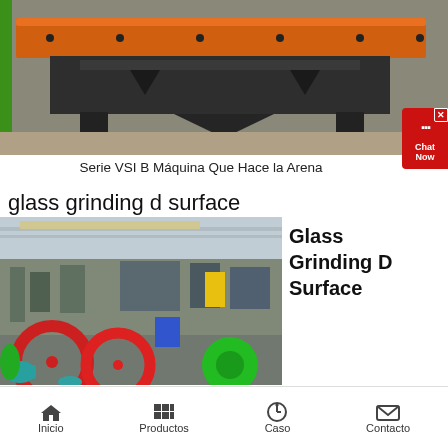[Figure (photo): VSI B series sand-making machine photographed from the front — industrial orange beam across the top, dark grey body and support legs, concrete floor, green wall strip at left edge]
Serie VSI B Máquina Que Hace la Arena
glass grinding d surface
[Figure (photo): Factory floor with industrial grinding machines; large red and green flywheel/disc assemblies in foreground, teal and blue machinery in background, bright fluorescent-lit industrial hall]
Glass Grinding D Surface
Inicio  Productos  Caso  Contacto